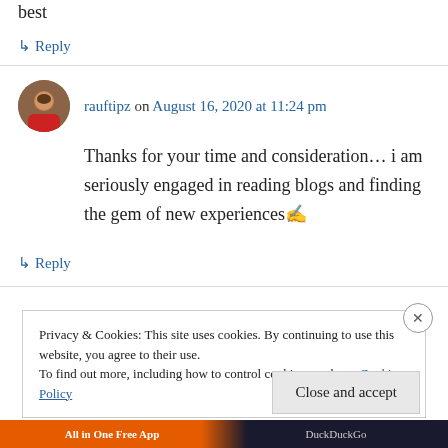best
↳ Reply
rauftipz on August 16, 2020 at 11:24 pm
Thanks for your time and consideration… i am seriously engaged in reading blogs and finding the gem of new experiences✍️
↳ Reply
Privacy & Cookies: This site uses cookies. By continuing to use this website, you agree to their use.
To find out more, including how to control cookies, see here: Cookie Policy
Close and accept